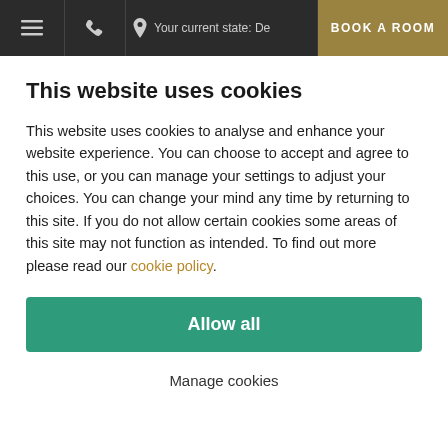Your current state: De | BOOK A ROOM
This website uses cookies
This website uses cookies to analyse and enhance your website experience. You can choose to accept and agree to this use, or you can manage your settings to adjust your choices. You can change your mind any time by returning to this site. If you do not allow certain cookies some areas of this site may not function as intended. To find out more please read our cookie policy.
Allow all
Manage cookies